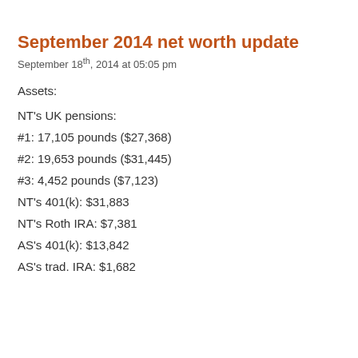September 2014 net worth update
September 18th, 2014 at 05:05 pm
Assets:
NT's UK pensions:
#1: 17,105 pounds ($27,368)
#2: 19,653 pounds ($31,445)
#3: 4,452 pounds ($7,123)
NT's 401(k): $31,883
NT's Roth IRA: $7,381
AS's 401(k): $13,842
AS's trad. IRA: $1,682